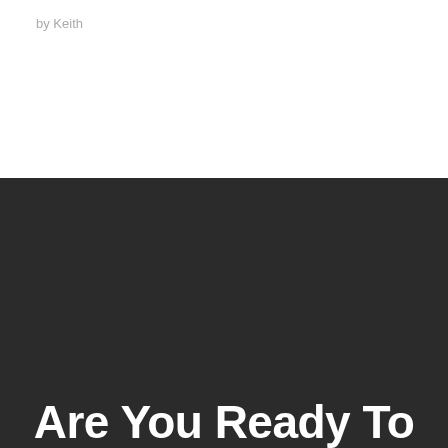by Keith
Are You Ready To Get Started ?
Book A Free Consultation